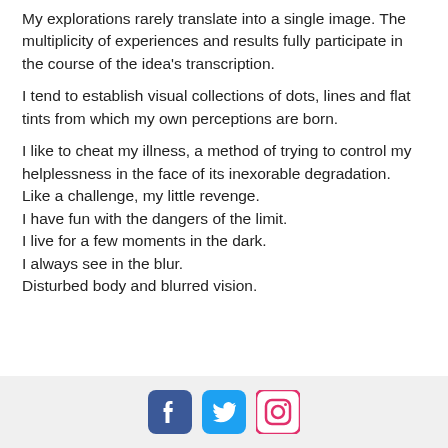My explorations rarely translate into a single image. The multiplicity of experiences and results fully participate in the course of the idea's transcription.
I tend to establish visual collections of dots, lines and flat tints from which my own perceptions are born.
I like to cheat my illness, a method of trying to control my helplessness in the face of its inexorable degradation.
Like a challenge, my little revenge.
I have fun with the dangers of the limit.
I live for a few moments in the dark.
I always see in the blur.
Disturbed body and blurred vision.
[Facebook] [Twitter] [Instagram] social media icons